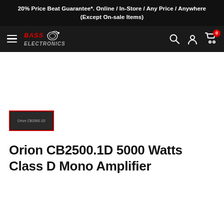20% Price Beat Guarantee*. Online / In-Store / Any Price / Anywhere (Except On-sale Items)
[Figure (logo): Bass Electronics logo with hamburger menu, search, account, and cart icons with 0 badge on dark navigation bar]
[Figure (photo): Orion CB2500.1D amplifier product thumbnail image in a red-bordered box]
Orion CB2500.1D 5000 Watts Class D Mono Amplifier